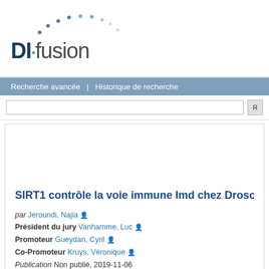[Figure (logo): DI-fusion logo with dots arc above text]
Recherche avancée  |  Historique de recherche
SIRT1 contrôle la voie immune Imd chez Drosophila me...
par Jeroundi, Najia
Président du jury Vanhamme, Luc
Promoteur Gueydan, Cyril
Co-Promoteur Kruys, Véronique
Publication Non publié, 2019-11-06
Thèse de doctorat
ACCÈS EN LIGNE   DÉTAILS   CONTENU   STATISTIQ...